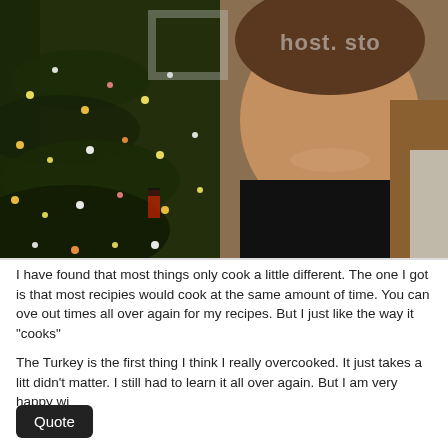[Figure (photo): A smiling man in a black t-shirt standing in front of a Christmas tree decorated with lights and ornaments. A watermark reading 'host. sto' is visible in the upper right corner.]
I have found that most things only cook a little different. The one I got is that most recipies would cook at the same amount of time. You can ove out times all over again for my recipes. But I just like the way it "cooks"
The Turkey is the first thing I think I really overcooked. It just takes a litt didn't matter. I still had to learn it all over again. But I am very happy wi
Quote